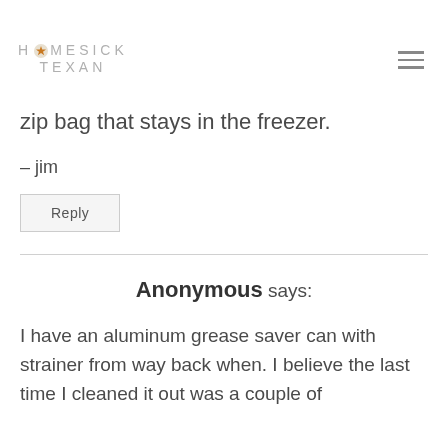HOMESICK TEXAN
zip bag that stays in the freezer.
– jim
Reply
Anonymous says:
I have an aluminum grease saver can with strainer from way back when. I believe the last time I cleaned it out was a couple of